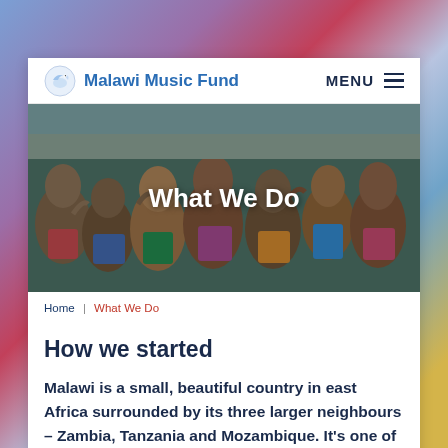Malawi Music Fund | MENU
[Figure (photo): Group of smiling African children giving thumbs up, outdoor photo used as hero banner with overlay text 'What We Do']
What We Do
Home | What We Do
How we started
Malawi is a small, beautiful country in east Africa surrounded by its three larger neighbours – Zambia, Tanzania and Mozambique. It's one of the world's